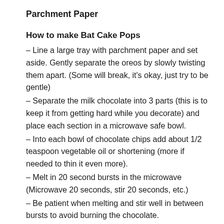Parchment Paper
How to make Bat Cake Pops
– Line a large tray with parchment paper and set aside. Gently separate the oreos by slowly twisting them apart. (Some will break, it's okay, just try to be gentle)
– Separate the milk chocolate into 3 parts (this is to keep it from getting hard while you decorate) and place each section in a microwave safe bowl.
– Into each bowl of chocolate chips add about 1/2 teaspoon vegetable oil or shortening (more if needed to thin it even more).
– Melt in 20 second bursts in the microwave (Microwave 20 seconds, stir 20 seconds, etc.)
– Be patient when melting and stir well in between bursts to avoid burning the chocolate.